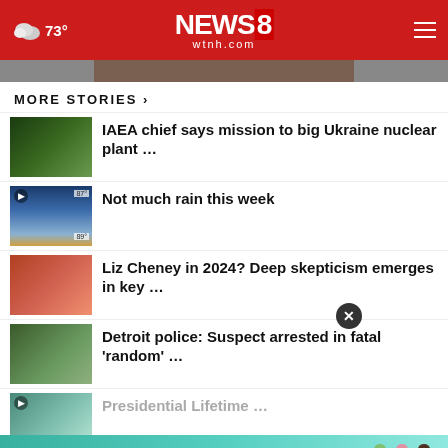NEWS 8 wtnh.com — 73°
[Figure (photo): Partial hero image at top of page, cropped]
MORE STORIES ›
[Figure (photo): Aerial view thumbnail]
IAEA chief says mission to big Ukraine nuclear plant …
[Figure (screenshot): Weather forecast thumbnail with play button]
Not much rain this week
[Figure (photo): Liz Cheney speaking at podium thumbnail]
Liz Cheney in 2024? Deep skepticism emerges in key …
[Figure (photo): Detroit police story thumbnail]
Detroit police: Suspect arrested in fatal 'random' …
[Figure (photo): Last story thumbnail with play button]
Presidential Lifetime …
[Figure (photo): Bishops Orchards Creamery advertisement banner with ice cream cones]